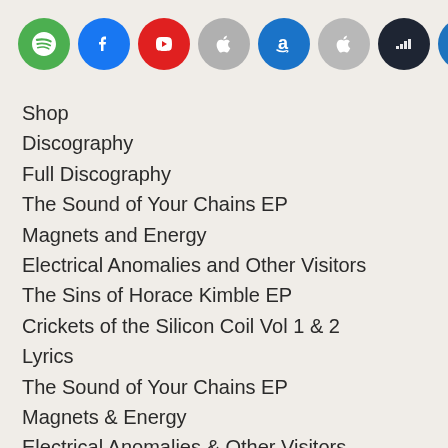[Figure (other): Row of 8 circular social media / streaming platform icons: Spotify (green), Facebook (blue), YouTube (red), Apple (gray), Amazon (blue), Apple (gray), Deezer (dark), WordPress (blue)]
Shop
Discography
Full Discography
The Sound of Your Chains EP
Magnets and Energy
Electrical Anomalies and Other Visitors
The Sins of Horace Kimble EP
Crickets of the Silicon Coil Vol 1 & 2
Lyrics
The Sound of Your Chains EP
Magnets & Energy
Electrical Anomalies & Other Visitors
The Sins of Horace Kimble
Videos
About